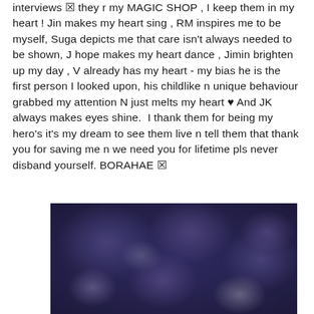interviews ▯ they r my MAGIC SHOP , I keep them in my heart ! Jin makes my heart sing , RM inspires me to be myself, Suga depicts me that care isn't always needed to be shown, J hope makes my heart dance , Jimin brighten up my day , V already has my heart - my bias he is the first person I looked upon, his childlike n unique behaviour grabbed my attention N just melts my heart ♥ And JK always makes eyes shine.  I thank them for being my hero's it's my dream to see them live n tell them that thank you for saving me n we need you for lifetime pls never disband yourself. BORAHAE ▯
[Figure (photo): A blurry dark blue/purple image with soft light bokeh spots, appearing to be a dimly lit scene with indistinct shapes.]